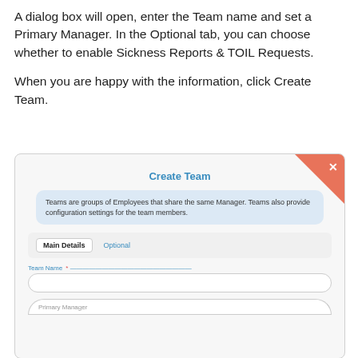A dialog box will open, enter the Team name and set a Primary Manager. In the Optional tab, you can choose whether to enable Sickness Reports & TOIL Requests.

When you are happy with the information, click Create Team.
[Figure (screenshot): Screenshot of a 'Create Team' dialog box with a close button (orange triangle with X in top right), an info box explaining teams are groups of employees sharing the same Manager and provide configuration settings, tabs for 'Main Details' and 'Optional', a 'Team Name' required field, and a partially visible 'Primary Manager' field at the bottom.]